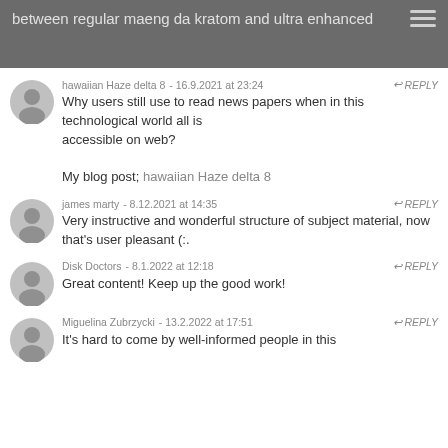between regular maeng da kratom and ultra enhanced
hawaiian Haze delta 8 - 16.9.2021 at 23:24 REPLY
Why users still use to read news papers when in this technological world all is accessible on web?

My blog post; hawaiian Haze delta 8
james marty - 8.12.2021 at 14:35 REPLY
Very instructive and wonderful structure of subject material, now that's user pleasant (:.
Disk Doctors - 8.1.2022 at 12:18 REPLY
Great content! Keep up the good work!
Miguelina Zubrzycki - 13.2.2022 at 17:51 REPLY
It's hard to come by well-informed people in this